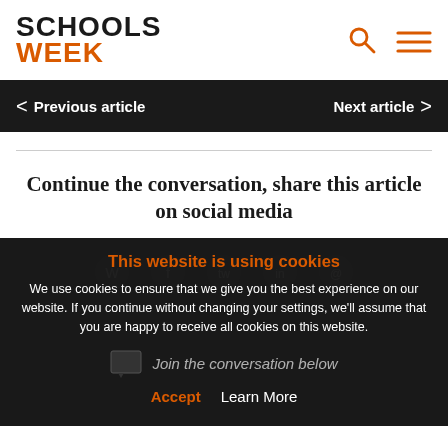SCHOOLS WEEK
< Previous article   Next article >
Continue the conversation, share this article on social media
This website is using cookies
We use cookies to ensure that we give you the best experience on our website. If you continue without changing your settings, we'll assume that you are happy to receive all cookies on this website.
Join the conversation below
Accept   Learn More